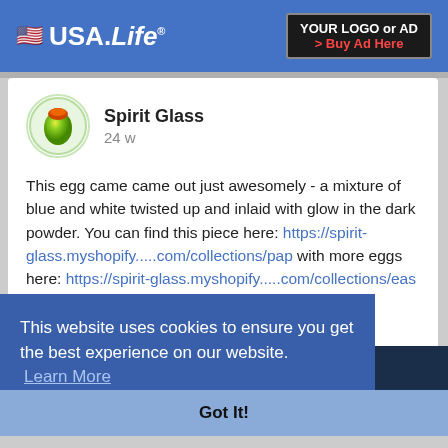USA.Life — YOUR LOGO or AD > Buy Ad Here
Spirit Glass
24 w
This egg came came out just awesomely - a mixture of blue and white twisted up and inlaid with glow in the dark powder. You can find this piece here: https://spirit-glass.myshopify.....com/collections/pap with more eggs here: https://spirit-glass.myshopify.....com/collections/eas as well as on my Etsy site: https://www.etsy.com/shop/SpiritGlassLLC.
This website uses cookies to ensure you get the best experience on our website. Learn More
Got It!